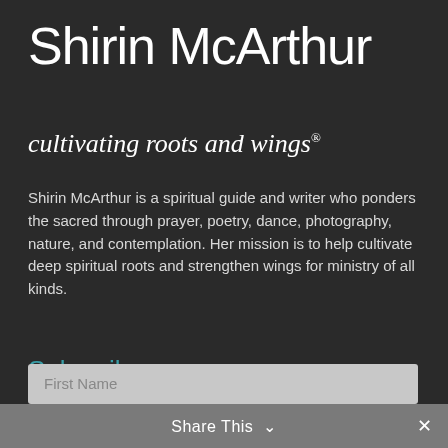Shirin McArthur
cultivating roots and wings®
Shirin McArthur is a spiritual guide and writer who ponders the sacred through prayer, poetry, dance, photography, nature, and contemplation. Her mission is to help cultivate deep spiritual roots and strengthen wings for ministry of all kinds.
Subscribe
To Shirin's enews and Prayerful Pondering BLOG
First Name
Share This